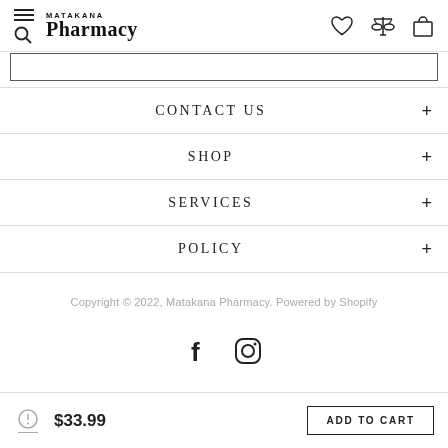MATAKANA Pharmacy
CONTACT US
SHOP
SERVICES
POLICY
Copyright © 2022, Matakana Pharmacy. Powered by Shopify
[Figure (other): Facebook and Instagram social media icons]
$33.99  ADD TO CART